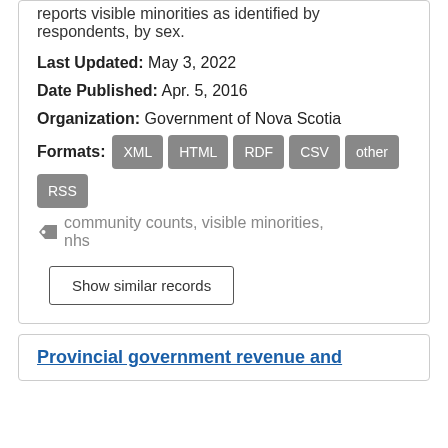reports visible minorities as identified by respondents, by sex.
Last Updated: May 3, 2022
Date Published: Apr. 5, 2016
Organization: Government of Nova Scotia
Formats: XML HTML RDF CSV other RSS
community counts, visible minorities, nhs
Show similar records
Provincial government revenue and